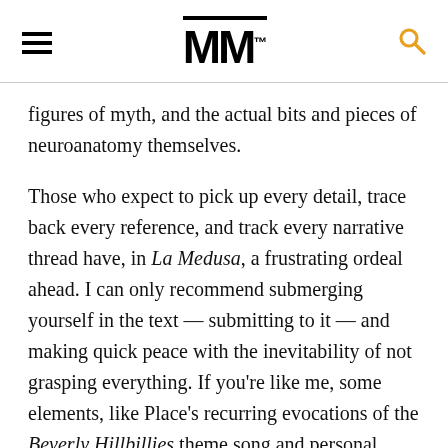MM™
figures of myth, and the actual bits and pieces of neuroanatomy themselves.
Those who expect to pick up every detail, trace back every reference, and track every narrative thread have, in La Medusa, a frustrating ordeal ahead. I can only recommend submerging yourself in the text — submitting to it — and making quick peace with the inevitability of not grasping everything. If you're like me, some elements, like Place's recurring evocations of the Beverly Hillbillies theme song and personal injury lawyer/bus ad fixture Juan Dominguez will amuse you every time; others, you'll never get a hold on. Bookworm host